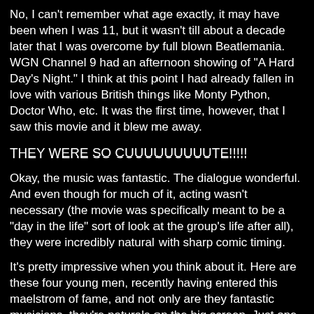No, I can't remember what age exactly, it may have been when I was 11, but it wasn't till about a decade later that I was overcome by full blown Beatlemania. WGN Channel 9 had an afternoon showing of "A Hard Day's Night." I think at this point I had already fallen in love with various British things like Monty Python, Doctor Who, etc. It was the first time, however, that I saw this movie and it blew me away.
THEY WERE SO CUUUUUUUUUTE!!!!!
Okay, the music was fantastic. The dialogue wonderful. And even though for much of it, acting wasn't necessary (the movie was specifically meant to be a "day in the life" sort of look at the group's life after all), they were incredibly natural with sharp comic timing.
It's pretty impressive when you think about it. Here are these four young men, recently having entered this maelstrom of fame, and not only are they fantastic musicians, they're naturals on the big screen. Just one example of why the Beatles are so compelling even 50 years later.